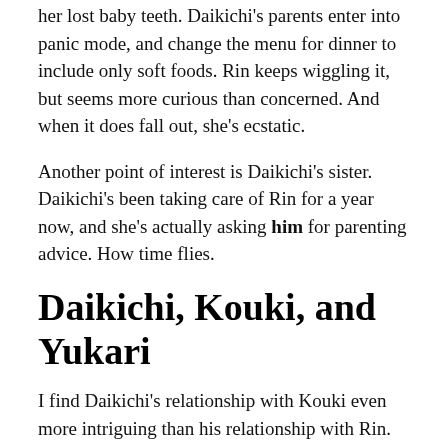her lost baby teeth. Daikichi's parents enter into panic mode, and change the menu for dinner to include only soft foods. Rin keeps wiggling it, but seems more curious than concerned. And when it does fall out, she's ecstatic.
Another point of interest is Daikichi's sister. Daikichi's been taking care of Rin for a year now, and she's actually asking him for parenting advice. How time flies.
Daikichi, Kouki, and Yukari
I find Daikichi's relationship with Kouki even more intriguing than his relationship with Rin. Kouki isn't living with him, but Daikichi has still taken the role of a father figure, and Kouki is completely enamored of him. Daikichi even has Kouki shopping for breakfast food to eat at his house, and Kouki invites Daikichi over to play video games (ah… male bonding).